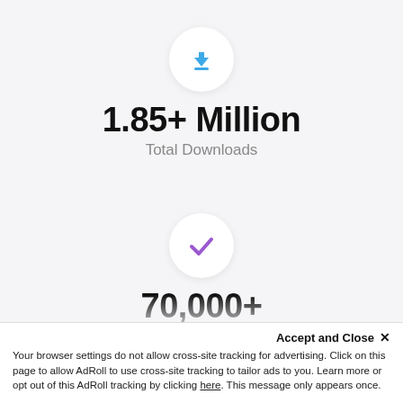[Figure (infographic): Blue download icon in a white circle]
1.85+ Million
Total Downloads
[Figure (infographic): Purple checkmark in a white circle]
70,000+
Active Online Marketplaces
Accept and Close ×
Your browser settings do not allow cross-site tracking for advertising. Click on this page to allow AdRoll to use cross-site tracking to tailor ads to you. Learn more or opt out of this AdRoll tracking by clicking here. This message only appears once.